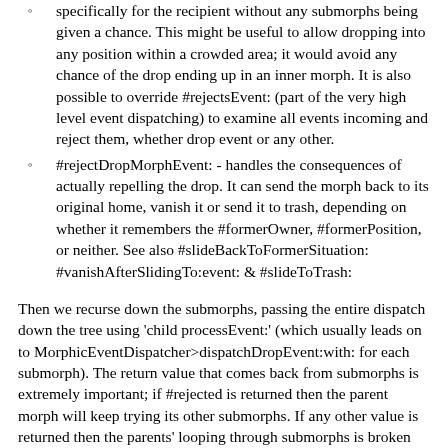(continued) specifically for the recipient without any submorphs being given a chance. This might be useful to allow dropping into any position within a crowded area; it would avoid any chance of the drop ending up in an inner morph. It is also possible to override #rejectsEvent: (part of the very high level event dispatching) to examine all events incoming and reject them, whether drop event or any other.
#rejectDropMorphEvent: - handles the consequences of actually repelling the drop. It can send the morph back to its original home, vanish it or send it to trash, depending on whether it remembers the #formerOwner, #formerPosition, or neither. See also #slideBackToFormerSituation: #vanishAfterSlidingTo:event: & #slideToTrash:
Then we recurse down the submorphs, passing the entire dispatch down the tree using 'child processEvent:' (which usually leads on to MorphicEventDispatcher>dispatchDropEvent:with: for each submorph). The return value that comes back from submorphs is extremely important; if #rejected is returned then the parent morph will keep trying its other submorphs. If any other value is returned then the parents' looping through submorphs is broken out of; if the event was marked as handled then we return immediately and typically this will return through all the levels of Morph back to the